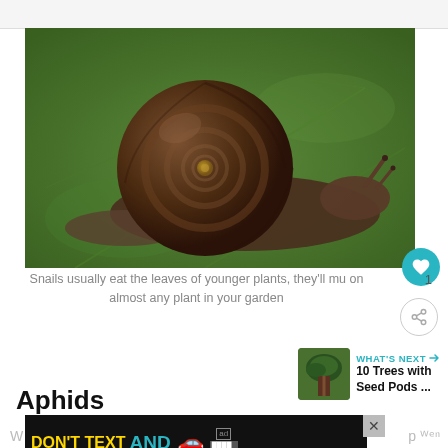[Figure (photo): Close-up photo of a brown garden snail with a dark spiral shell, crawling on a large green leaf]
Snails usually eat the leaves of younger plants, they'll munch on almost any plant in your garden
1
[Figure (illustration): WHAT'S NEXT arrow label with thumbnail of trees; text: 10 Trees with Seed Pods ...]
Aphids
[Figure (screenshot): Advertisement banner: DON'T TEXT AND [car emoji] with ad and NHTSA logos, with a close button X]